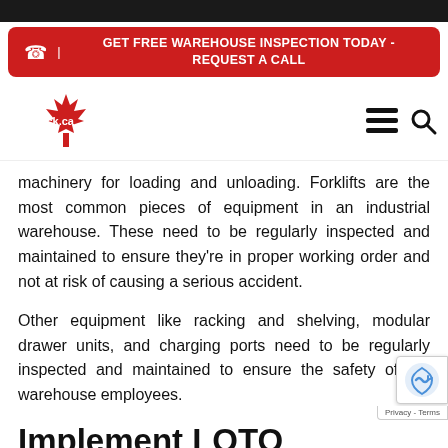[Figure (screenshot): Top black navigation bar of website]
[Figure (infographic): Red banner CTA: GET FREE WAREHOUSE INSPECTION TODAY - REQUEST A CALL with phone icon]
[Figure (logo): rack.ca logo with red maple leaf, plus hamburger menu and search icon]
machinery for loading and unloading. Forklifts are the most common pieces of equipment in an industrial warehouse. These need to be regularly inspected and maintained to ensure they're in proper working order and not at risk of causing a serious accident.
Other equipment like racking and shelving, modular drawer units, and charging ports need to be regularly inspected and maintained to ensure the safety of the warehouse employees.
Implement LOTO Procedure...